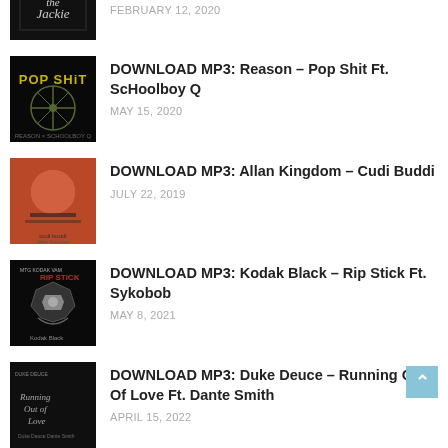FEBRUARY 12, 2020
DOWNLOAD MP3: Reason – Pop Shit Ft. ScHoolboy Q | MAY 15, 2020
DOWNLOAD MP3: Allan Kingdom – Cudi Buddi | JULY 22, 2019
DOWNLOAD MP3: Kodak Black – Rip Stick Ft. Sykobob | MAY 8, 2021
DOWNLOAD MP3: Duke Deuce – Running Out Of Love Ft. Dante Smith | APRIL 15, 2022
DOWNLOAD MP3: DigDat – New Dior Ft. D Block